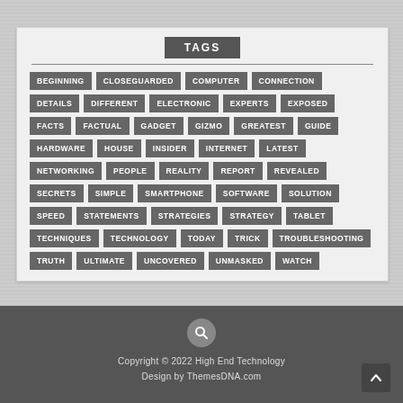TAGS
BEGINNING
CLOSEGUARDED
COMPUTER
CONNECTION
DETAILS
DIFFERENT
ELECTRONIC
EXPERTS
EXPOSED
FACTS
FACTUAL
GADGET
GIZMO
GREATEST
GUIDE
HARDWARE
HOUSE
INSIDER
INTERNET
LATEST
NETWORKING
PEOPLE
REALITY
REPORT
REVEALED
SECRETS
SIMPLE
SMARTPHONE
SOFTWARE
SOLUTION
SPEED
STATEMENTS
STRATEGIES
STRATEGY
TABLET
TECHNIQUES
TECHNOLOGY
TODAY
TRICK
TROUBLESHOOTING
TRUTH
ULTIMATE
UNCOVERED
UNMASKED
WATCH
Copyright © 2022 High End Technology
Design by ThemesDNA.com